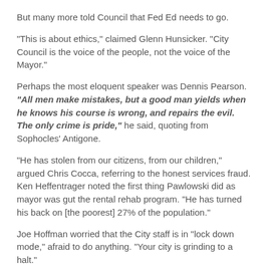But many more told Council that Fed Ed needs to go.
"This is about ethics," claimed Glenn Hunsicker. "City Council is the voice of the people, not the voice of the Mayor."
Perhaps the most eloquent speaker was Dennis Pearson. "All men make mistakes, but a good man yields when he knows his course is wrong, and repairs the evil. The only crime is pride," he said, quoting from Sophocles' Antigone.
"He has stolen from our citizens, from our children," argued Chris Cocca, referring to the honest services fraud. Ken Heffentrager noted the first thing Pawlowski did as mayor was gut the rental rehab program. "He has turned his back on [the poorest] 27% of the population."
Joe Hoffman worried that the City staff is in "lock down mode," afraid to do anything. "Your city is grinding to a halt."